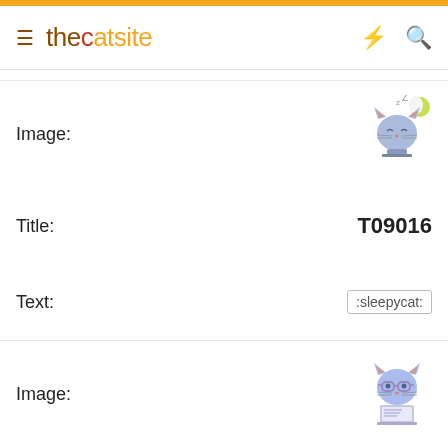thecatsite
| Field | Value |
| --- | --- |
| Image: | (sleepy cat emoji) |
| Title: | T09016 |
| Text: | :sleepycat: |
| Image: | (geek cat emoji) |
| Title: | T09020 |
| Text: | :geekcat: |
| Image: | (partial) |